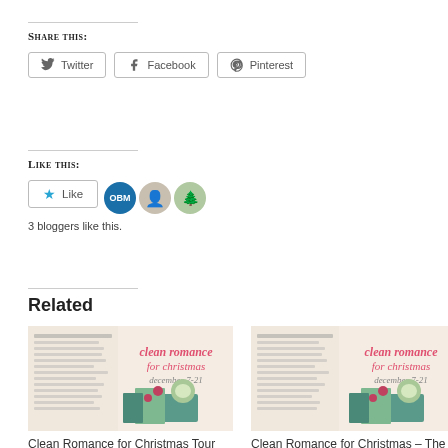Share this:
Twitter  Facebook  Pinterest
Like this:
Like  [OBM avatar] [person avatar] [tree avatar]
3 bloggers like this.
Related
[Figure (photo): Clean Romance for Christmas book cover with mug and stack of books]
Clean Romance for Christmas Tour Launch December 7, 2021
[Figure (photo): Clean Romance for Christmas - The Merchant and the Rogue by Sarah book cover]
Clean Romance for Christmas – The Merchant and the Rogue by Sarah